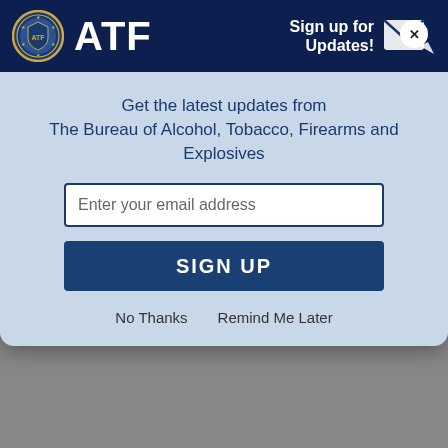[Figure (screenshot): ATF (Bureau of Alcohol, Tobacco, Firearms and Explosives) email sign-up modal overlay with ATF seal logo and name in dark navy header, email input field, SIGN UP button, and No Thanks / Remind Me Later links on light blue background]
As a security measure, the second door must be opened electronically by the staff.
Strauther entered the first door of the business as another suspect followed. Strauther and the other individual were not able to gain complete entry into the business because staff did not electronically open the second door. When Strauther was unable to gain entry through the second door, he kicked out the lower portion of the glass on the door to try and get in.
Fearing for their safety, the business owner and an off-duty poli...